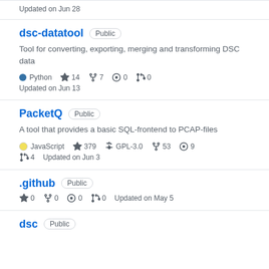Updated on Jun 28
dsc-datatool  Public
Tool for converting, exporting, merging and transforming DSC data
Python  14  7  0  0
Updated on Jun 13
PacketQ  Public
A tool that provides a basic SQL-frontend to PCAP-files
JavaScript  379  GPL-3.0  53  9  4  Updated on Jun 3
.github  Public
0  0  0  0  Updated on May 5
dsc  Public